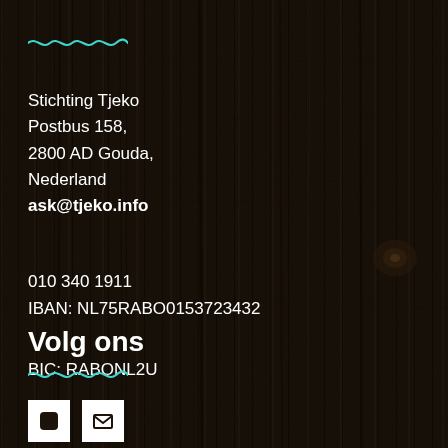[Figure (illustration): Dark wood plank texture background with vertical grain lines]
[Figure (illustration): Teal/cyan wavy decorative line near top left]
Stichting Tjeko
Postbus 158,
2800 AD Gouda,
Nederland
ask@tjeko.info
010 340 1911
IBAN: NL75RABO0153723432
BIC: RABONL2U
Volg ons
[Figure (illustration): Teal/cyan wavy decorative line near bottom left]
[Figure (illustration): Two white social media icon squares partially visible at the bottom]